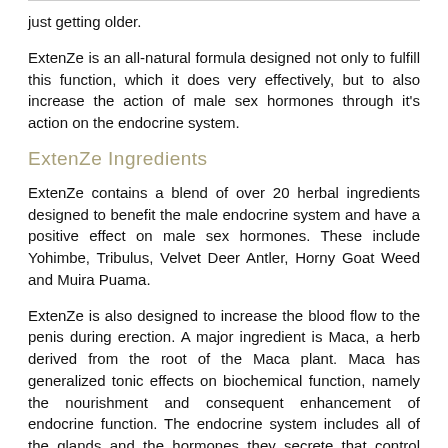just getting older.
ExtenZe is an all-natural formula designed not only to fulfill this function, which it does very effectively, but to also increase the action of male sex hormones through it's action on the endocrine system.
ExtenZe Ingredients
ExtenZe contains a blend of over 20 herbal ingredients designed to benefit the male endocrine system and have a positive effect on male sex hormones. These include Yohimbe, Tribulus, Velvet Deer Antler, Horny Goat Weed and Muira Puama.
ExtenZe is also designed to increase the blood flow to the penis during erection. A major ingredient is Maca, a herb derived from the root of the Maca plant. Maca has generalized tonic effects on biochemical function, namely the nourishment and consequent enhancement of endocrine function. The endocrine system includes all of the glands and the hormones they secrete that control such functions as:
fertility and sexual function